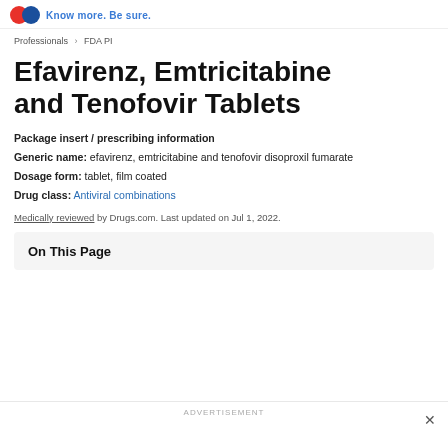Know more. Be sure.
Professionals > FDA PI
Efavirenz, Emtricitabine and Tenofovir Tablets
Package insert / prescribing information
Generic name: efavirenz, emtricitabine and tenofovir disoproxil fumarate
Dosage form: tablet, film coated
Drug class: Antiviral combinations
Medically reviewed by Drugs.com. Last updated on Jul 1, 2022.
On This Page